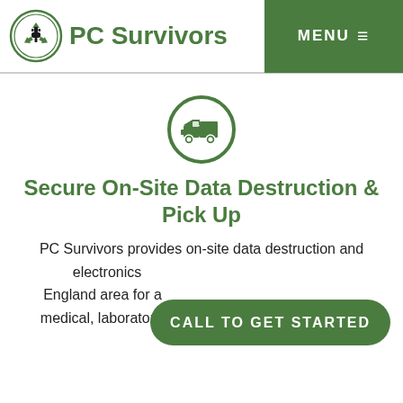[Figure (logo): PC Survivors logo with green recycling symbol and company name]
MENU ≡
[Figure (illustration): Green circle icon with a truck/car silhouette inside]
Secure On-Site Data Destruction & Pick Up
PC Survivors provides on-site data destruction and electronics... England area for a... medical, laboratory equipment, computers, laptops
CALL TO GET STARTED